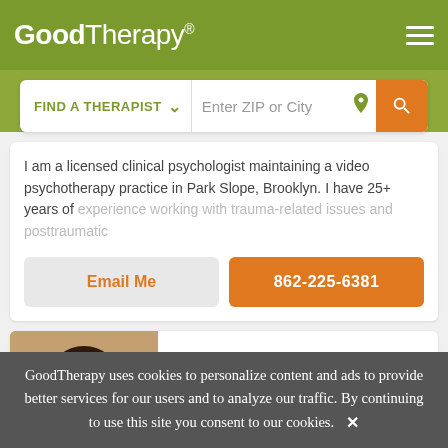GoodTherapy®
FIND A THERAPIST  Enter ZIP or City
I am a licensed clinical psychologist maintaining a video psychotherapy practice in Park Slope, Brooklyn. I have 25+ years of experience working with trauma-related issues and posttraumatic
Email Me
862-225-6381
Alexandra Goletka
Psy.D
Clinical Psychologist
GoodTherapy uses cookies to personalize content and ads to provide better services for our users and to analyze our traffic. By continuing to use this site you consent to our cookies.